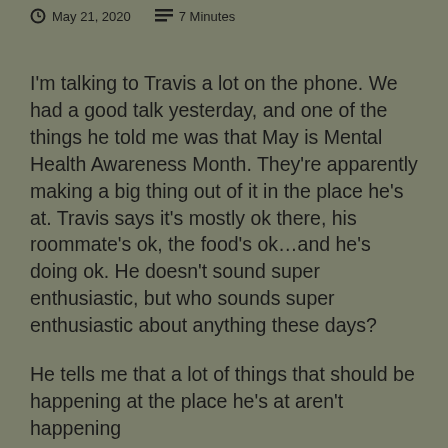May 21, 2020   7 Minutes
I'm talking to Travis a lot on the phone. We had a good talk yesterday, and one of the things he told me was that May is Mental Health Awareness Month. They're apparently making a big thing out of it in the place he's at. Travis says it's mostly ok there, his roommate's ok, the food's ok…and he's doing ok. He doesn't sound super enthusiastic, but who sounds super enthusiastic about anything these days?
He tells me that a lot of things that should be happening at the place he's at aren't happening